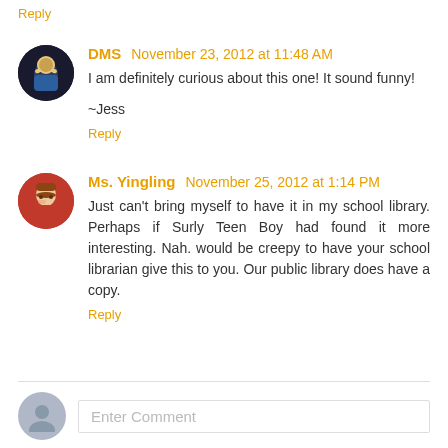Reply
DMS  November 23, 2012 at 11:48 AM
I am definitely curious about this one! It sound funny!
~Jess
Reply
Ms. Yingling  November 25, 2012 at 1:14 PM
Just can't bring myself to have it in my school library. Perhaps if Surly Teen Boy had found it more interesting. Nah. would be creepy to have your school librarian give this to you. Our public library does have a copy.
Reply
Enter Comment